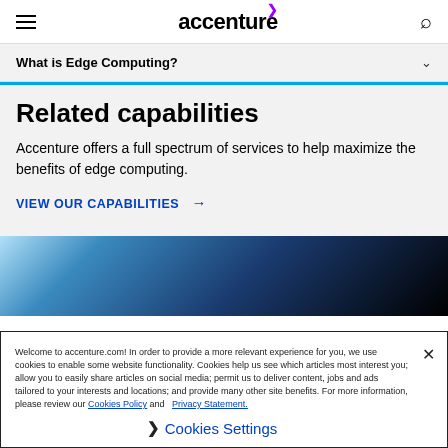accenture
What is Edge Computing?
Related capabilities
Accenture offers a full spectrum of services to help maximize the benefits of edge computing.
VIEW OUR CAPABILITIES →
[Figure (photo): Glowing blue and teal technological objects on dark background, representing edge computing hardware.]
Welcome to accenture.com! In order to provide a more relevant experience for you, we use cookies to enable some website functionality. Cookies help us see which articles most interest you; allow you to easily share articles on social media; permit us to deliver content, jobs and ads tailored to your interests and locations; and provide many other site benefits. For more information, please review our Cookies Policy and Privacy Statement.
Cookies Settings